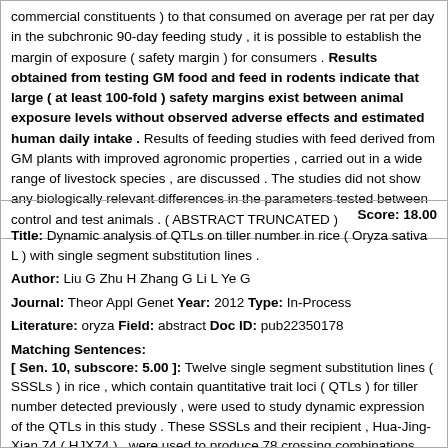commercial constituents ) to that consumed on average per rat per day in the subchronic 90-day feeding study , it is possible to establish the margin of exposure ( safety margin ) for consumers . Results obtained from testing GM food and feed in rodents indicate that large ( at least 100-fold ) safety margins exist between animal exposure levels without observed adverse effects and estimated human daily intake . Results of feeding studies with feed derived from GM plants with improved agronomic properties , carried out in a wide range of livestock species , are discussed . The studies did not show any biologically relevant differences in the parameters tested between control and test animals . ( ABSTRACT TRUNCATED )
Score: 18.00
Title: Dynamic analysis of QTLs on tiller number in rice ( Oryza sativa L ) with single segment substitution lines .
Author: Liu G Zhu H Zhang G Li L Ye G
Journal: Theor Appl Genet Year: 2012 Type: In-Process
Literature: oryza Field: abstract Doc ID: pub22350178
Matching Sentences:
[ Sen. 10, subscore: 5.00 ]: Twelve single segment substitution lines ( SSSLs ) in rice , which contain quantitative trait loci ( QTLs ) for tiller number detected previously , were used to study dynamic expression of the QTLs in this study . These SSSLs and their recipient , Hua-Jing-Xian 74 ( HJX74 ) , were used to produce 78 crossing combinations first , and then these combinations and their parents were grown in two planting seasons with three cropping densities . Tiller number was measured at seven developmental stages . QTL effects including main effects ( additive , dominance and epistasis ) , QTL x season and QTL x density interaction effects were analyzed at each measured stage . The additive